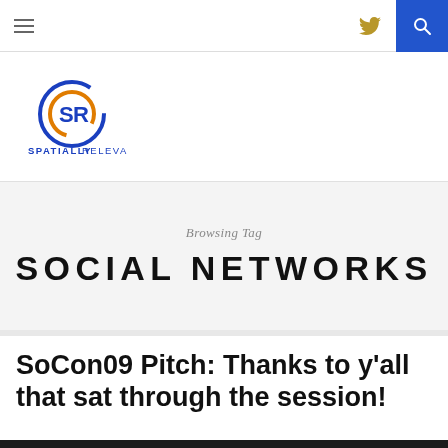Navigation bar with hamburger menu, Twitter icon, and search button
[Figure (logo): Spatially Relevant logo: circular SR icon in blue and orange, with text SPATIALLY RELEVANT below in blue]
Browsing Tag
SOCIAL NETWORKS
SoCon09 Pitch: Thanks to y'all that sat through the session!